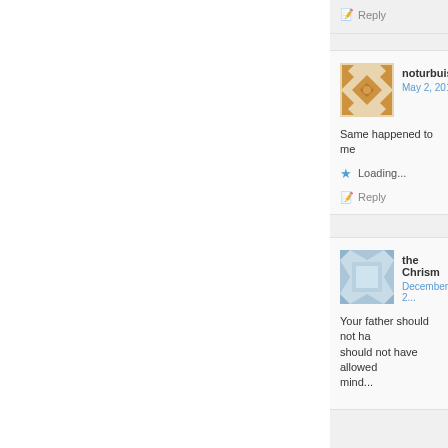Reply
noturbuisness
May 2, 2019
Same happened to me
Loading...
Reply
the Chrism...
December 2...
Your father should not ha... should not have allowed... mind...